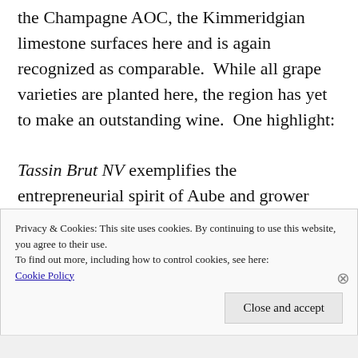the Champagne AOC, the Kimmeridgian limestone surfaces here and is again recognized as comparable.  While all grape varieties are planted here, the region has yet to make an outstanding wine.  One highlight:
Tassin Brut NV exemplifies the entrepreneurial spirit of Aube and grower Champagne at once with its 80/20 Pinot/Chardonnay blend and lower wholesale pricing.  The wine displays a bright, light mousse, appley citrus and barely
Privacy & Cookies: This site uses cookies. By continuing to use this website, you agree to their use.
To find out more, including how to control cookies, see here:
Cookie Policy
Close and accept